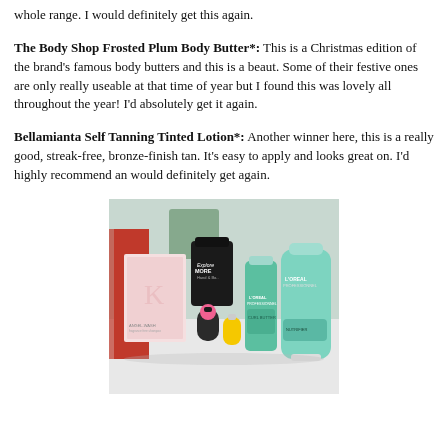whole range. I would definitely get this again.
The Body Shop Frosted Plum Body Butter*: This is a Christmas edition of the brand's famous body butters and this is a beaut. Some of their festive ones are only really useable at that time of year but I found this was lovely all throughout the year! I'd absolutely get it again.
Bellamianta Self Tanning Tinted Lotion*: Another winner here, this is a really good, streak-free, bronze-finish tan. It's easy to apply and looks great on. I'd highly recommend an would definitely get again.
[Figure (photo): Photo of several beauty and hair products arranged on a white surface, including a Kevin Murphy box, a candle, L'Oreal Professionnel bottles, and small travel-size bottles.]